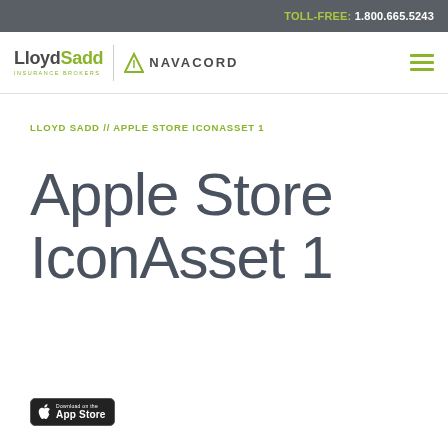TOLL-FREE: 1.800.665.5243
[Figure (logo): LloydSadd Insurance Brokers / Navacord logo with navigation hamburger menu]
LLOYD SADD // APPLE STORE ICONASSET 1
Apple Store IconAsset 1
[Figure (other): App Store download badge button]